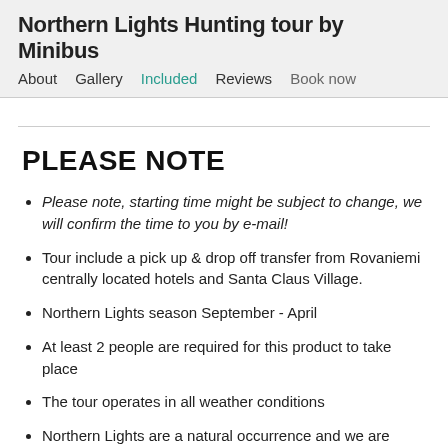Northern Lights Hunting tour by Minibus
About   Gallery   Included   Reviews   Book now
PLEASE NOTE
Please note, starting time might be subject to change, we will confirm the time to you by e-mail!
Tour include a pick up & drop off transfer from Rovaniemi centrally located hotels and Santa Claus Village.
Northern Lights season September - April
At least 2 people are required for this product to take place
The tour operates in all weather conditions
Northern Lights are a natural occurrence and we are unable to guarantee activity, vibrancy or colour